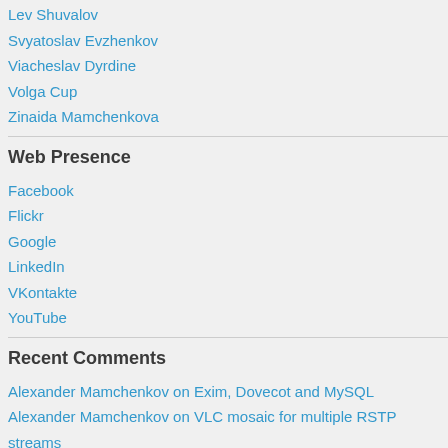Lev Shuvalov
Svyatoslav Evzhenkov
Viacheslav Dyrdine
Volga Cup
Zinaida Mamchenkova
Web Presence
Facebook
Flickr
Google
LinkedIn
VKontakte
YouTube
Recent Comments
Alexander Mamchenkov on Exim, Dovecot and MySQL
Alexander Mamchenkov on VLC mosaic for multiple RSTP streams
Alexander Mamchenkov on VLC mosaic for multiple RSTP streams
Alexander Mamchenkov on VLC mosaic for multiple RSTP streams
Alexander Mamchenkov on VLC mosaic for multiple RSTP streams